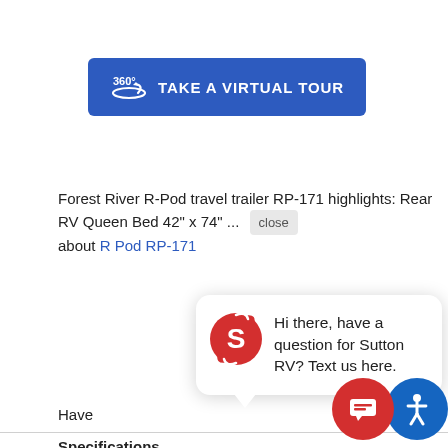[Figure (other): Blue button with 360-degree icon and text 'TAKE A VIRTUAL TOUR']
Forest River R-Pod travel trailer RP-171 highlights: Rear RV Queen Bed 42" x 74" ... close
about R Pod RP-171
[Figure (other): Chat popup with Sutton RV logo and text: Hi there, have a question for Sutton RV? Text us here.]
Have
|  |  |
| --- | --- |
| Specifications |  |
| Sleeps | 3 |
| Length | 19 ft |
[Figure (other): Bottom right: red chat bubble icon and blue accessibility icon]